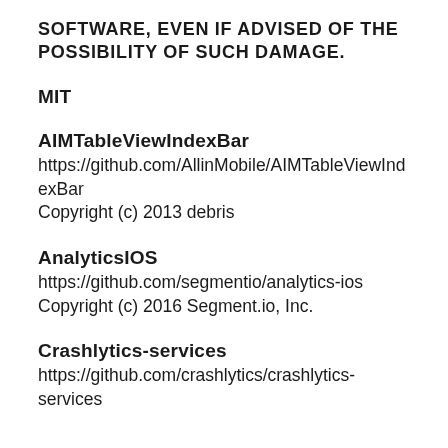SOFTWARE, EVEN IF ADVISED OF THE POSSIBILITY OF SUCH DAMAGE.
MIT
AIMTableViewIndexBar
https://github.com/AllinMobile/AIMTableViewIndexBar
Copyright (c) 2013 debris
AnalyticsIOS
https://github.com/segmentio/analytics-ios
Copyright (c) 2016 Segment.io, Inc.
Crashlytics-services
https://github.com/crashlytics/crashlytics-services